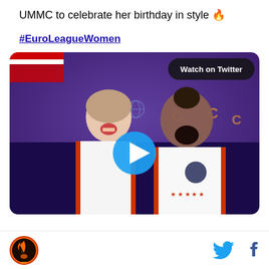UMMC to celebrate her birthday in style 🔥
#EuroLeagueWomen
[Figure (screenshot): Video thumbnail showing two female basketball players in white uniforms celebrating/cheering in front of a EuroLeague Women branded backdrop. A blue play button circle is centered on the image. A 'Watch on Twitter' badge appears in the top right corner.]
[Figure (logo): Round basketball team logo (orange/red flame with player silhouette) in bottom left footer]
[Figure (logo): Twitter bird icon and Facebook 'f' icon in bottom right footer]